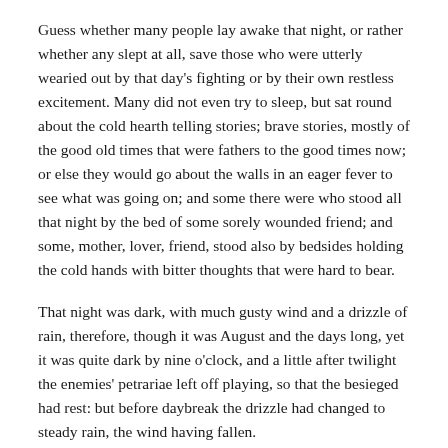Guess whether many people lay awake that night, or rather whether any slept at all, save those who were utterly wearied out by that day's fighting or by their own restless excitement. Many did not even try to sleep, but sat round about the cold hearth telling stories; brave stories, mostly of the good old times that were fathers to the good times now; or else they would go about the walls in an eager fever to see what was going on; and some there were who stood all that night by the bed of some sorely wounded friend; and some, mother, lover, friend, stood also by bedsides holding the cold hands with bitter thoughts that were hard to bear.
That night was dark, with much gusty wind and a drizzle of rain, therefore, though it was August and the days long, yet it was quite dark by nine o'clock, and a little after twilight the enemies' petrariae left off playing, so that the besieged had rest: but before daybreak the drizzle had changed to steady rain, the wind having fallen.